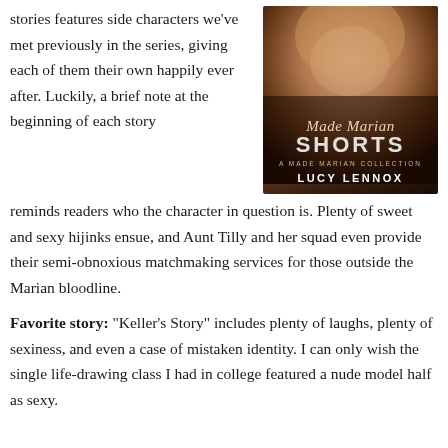stories features side characters we've met previously in the series, giving each of them their own happily ever after. Luckily, a brief note at the beginning of each story reminds readers who the character in question is. Plenty of sweet and sexy hijinks ensue, and Aunt Tilly and her squad even provide their semi-obnoxious matchmaking services for those outside the Marian bloodline.
[Figure (illustration): Book cover for 'Made Marian Shorts: A Made Marian Collection' by Lucy Lennox. Shows a close-up of a person's neck/chest area with warm skin tones, with script and bold text overlay.]
Favorite story: "Keller's Story" includes plenty of laughs, plenty of sexiness, and even a case of mistaken identity. I can only wish the single life-drawing class I had in college featured a nude model half as sexy.